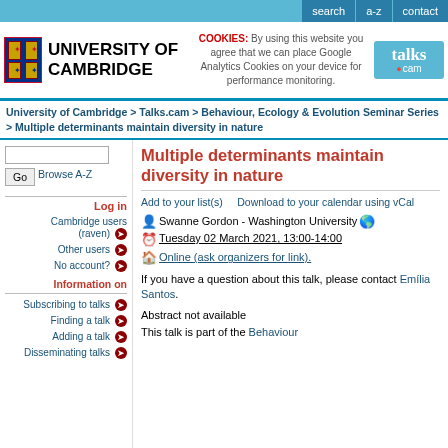search | a-z | contact
[Figure (logo): University of Cambridge logo with coat of arms and text]
COOKIES: By using this website you agree that we can place Google Analytics Cookies on your device for performance monitoring.
[Figure (logo): talks.cam logo]
University of Cambridge > Talks.cam > Behaviour, Ecology & Evolution Seminar Series > Multiple determinants maintain diversity in nature
Multiple determinants maintain diversity in nature
Add to your list(s)    Download to your calendar using vCal
Swanne Gordon - Washington University
Tuesday 02 March 2021, 13:00-14:00
Online (ask organizers for link).
If you have a question about this talk, please contact Emília Santos.
Abstract not available
This talk is part of the Behaviour
Log in
Cambridge users (raven)
Other users
No account?
Information on
Subscribing to talks
Finding a talk
Adding a talk
Disseminating talks